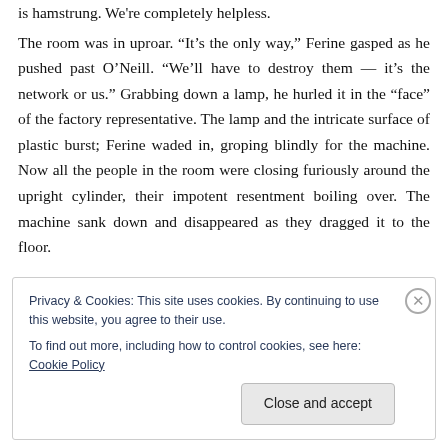is hamstrung. We're completely helpless.
The room was in uproar. “It’s the only way,” Ferine gasped as he pushed past O’Neill. “We’ll have to destroy them — it’s the network or us.” Grabbing down a lamp, he hurled it in the “face” of the factory representative. The lamp and the intricate surface of plastic burst; Ferine waded in, groping blindly for the machine. Now all the people in the room were closing furiously around the upright cylinder, their impotent resentment boiling over. The machine sank down and disappeared as they dragged it to the floor.
Privacy & Cookies: This site uses cookies. By continuing to use this website, you agree to their use.
To find out more, including how to control cookies, see here: Cookie Policy